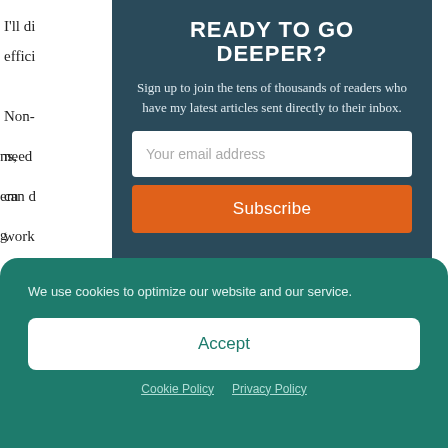I'll di... effici...
Non-... need... can d... work... more...
Stag...
[Figure (screenshot): Email newsletter signup modal overlay with dark teal background. Title reads 'READY TO GO DEEPER?'. Body text: 'Sign up to join the tens of thousands of readers who have my latest articles sent directly to their inbox.' Contains an email input field with placeholder 'Your email address' and an orange Subscribe button.]
We use cookies to optimize our website and our service.
Accept
Cookie Policy   Privacy Policy